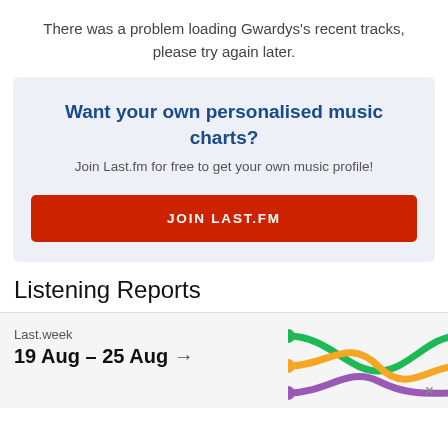There was a problem loading Gwardys's recent tracks, please try again later.
[Figure (infographic): Promotional box with blue heading 'Want your own personalised music charts?', subtitle 'Join Last.fm for free to get your own music profile!', and a red button labeled 'JOIN LAST.FM']
Listening Reports
[Figure (infographic): Listening report card showing 'Last.week' label, date range '19 Aug – 25 Aug' with arrow, and a colorful intertwined lines graphic on the right in green, orange, and purple]
×